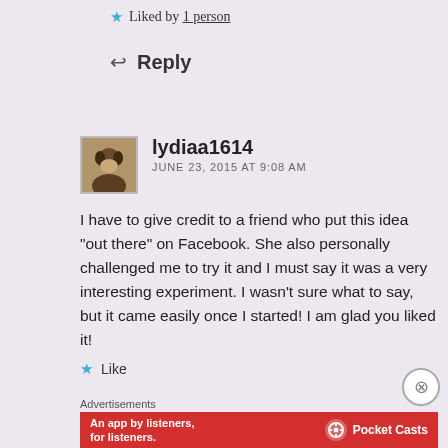★ Liked by 1 person
↩ Reply
lydiaa1614
JUNE 23, 2015 AT 9:08 AM
I have to give credit to a friend who put this idea "out there" on Facebook. She also personally challenged me to try it and I must say it was a very interesting experiment. I wasn't sure what to say, but it came easily once I started! I am glad you liked it!
★ Like
Advertisements
[Figure (screenshot): Red advertisement banner for Pocket Casts: 'An app by listeners, for listeners.']